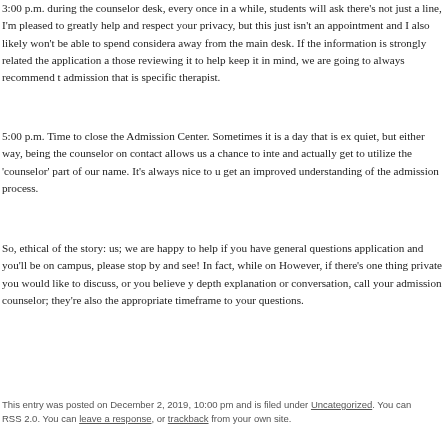3:00 p.m. during the counselor desk, every once in a while, students will ask there's not just a line, I'm pleased to greatly help and respect your privacy, but this just isn't an appointment and I also likely won't be able to spend considerably away from the main desk. If the information is strongly related the application and those reviewing it to help keep it in mind, we are going to always recommend that admission that is specific therapist.
5:00 p.m. Time to close the Admission Center. Sometimes it is a day that is extremely quiet, but either way, being the counselor on contact allows us a chance to interact and actually get to utilize the 'counselor' part of our name. It's always nice to use and get an improved understanding of the admission process.
So, ethical of the story: us; we are happy to help if you have general questions about your application and you'll be on campus, please stop by and see! In fact, while on campus. However, if there's one thing private you would like to discuss, or you believe you need an in-depth explanation or conversation, call your admission counselor; they're also happy to respond in the appropriate timeframe to your questions.
This entry was posted on December 2, 2019, 10:00 pm and is filed under Uncategorized. You can RSS 2.0. You can leave a response, or trackback from your own site.